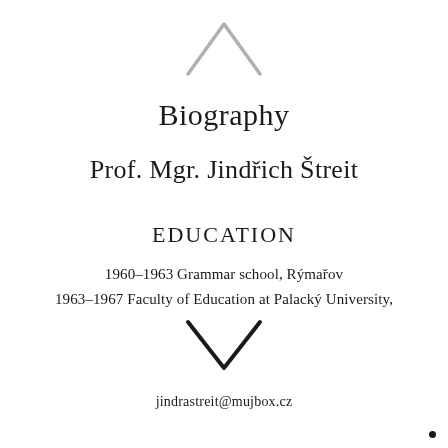[Figure (illustration): Light grey upward-pointing chevron/caret symbol at the top center of the page]
Biography
Prof. Mgr. Jindřich Štreit
EDUCATION
1960–1963 Grammar school, Rýmařov
1963–1967 Faculty of Education at Palacký University,
[Figure (illustration): Dark downward-pointing chevron/caret symbol in the lower center of the page]
jindrastreit@mujbox.cz